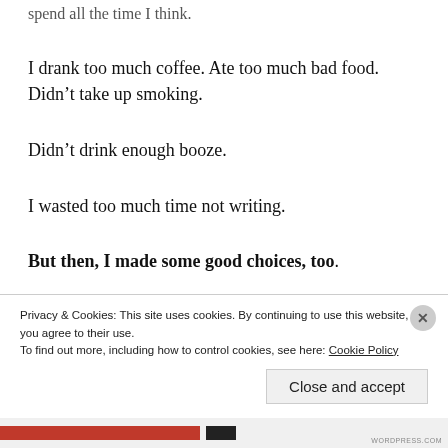spend all the time I think.
I drank too much coffee. Ate too much bad food. Didn't take up smoking.
Didn't drink enough booze.
I wasted too much time not writing.
But then, I made some good choices, too.
I presented at my first conference and managed to write
Privacy & Cookies: This site uses cookies. By continuing to use this website, you agree to their use.
To find out more, including how to control cookies, see here: Cookie Policy
Close and accept